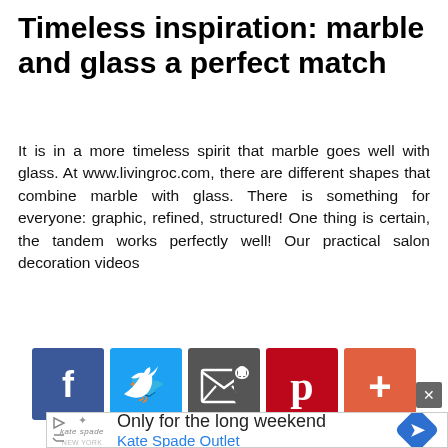Timeless inspiration: marble and glass a perfect match
It is in a more timeless spirit that marble goes well with glass. At www.livingroc.com, there are different shapes that combine marble with glass. There is something for everyone: graphic, refined, structured! One thing is certain, the tandem works perfectly well! Our practical salon decoration videos
[Figure (infographic): Social share buttons: Facebook (blue), Twitter (light blue), Email/envelope (dark gray), Pinterest (red), More/plus (orange-red)]
[Figure (screenshot): Advertisement popup for Kate Spade Outlet: 'Only for the long weekend' with Kate Spade logo and blue diamond navigation icon. Has close button (x) in top right corner.]